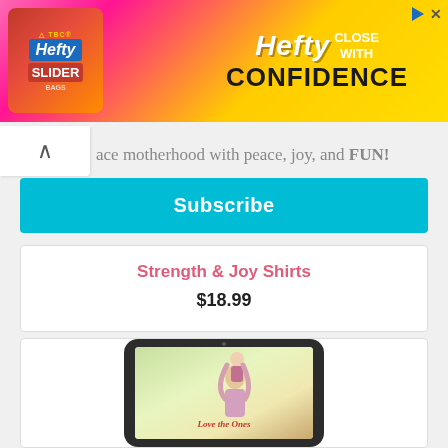[Figure (photo): Hefty Slider Bags advertisement banner with colorful gradient background (pink to yellow), Hefty logo on left with slider bag packaging, and 'HEFTY CLOSE WITH CONFIDENCE' text on right]
ace motherhood with peace, joy, and FUN!
Subscribe
Strength & Joy Shirts
$18.99
[Figure (photo): Tablet device mockup displaying a book cover with a mother lifting a child, with cursive text reading 'Love the Ones' on a warm-toned background]